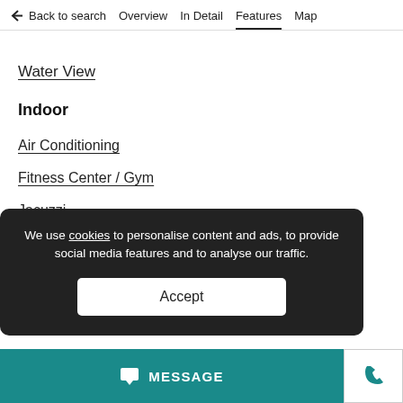← Back to search   Overview   In Detail   Features   Map
Water View
Indoor
Air Conditioning
Fitness Center / Gym
Jacuzzi
Sauna
Steam Room
We use cookies to personalise content and ads, to provide social media features and to analyse our traffic.
Accept